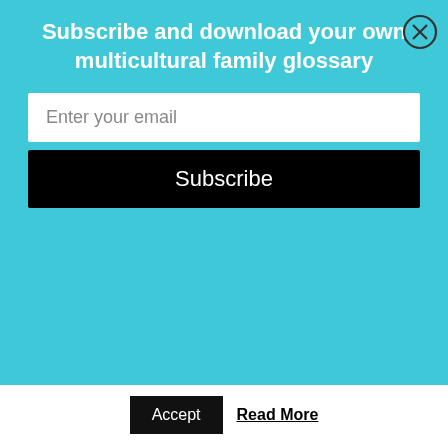Subscribe and download your own multicultural family glossary
Enter your email
Subscribe
[Figure (screenshot): Book cover preview showing 'Creative World of Varya' in italic script and 'HEALTHY & EASY MULTICULTURAL' in bold green text, within a green-bordered box]
This website uses cookies to improve your experience. We'll assume you're ok with this, but you can opt-out if you wish.
Accept
Read More